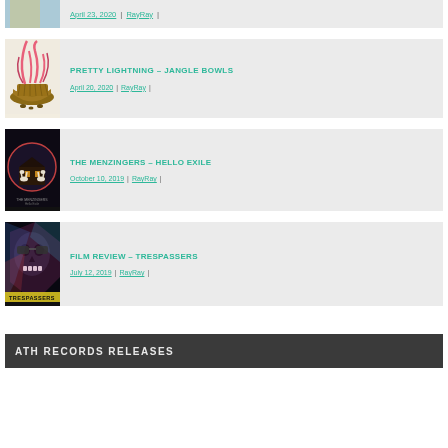[Figure (photo): Partial album art at top, cut off]
April 23, 2020 | RayRay |
[Figure (illustration): Album art for Pretty Lightning - Jangle Bowls showing a woven basket with pink flame-like tendrils above it]
PRETTY LIGHTNING – JANGLE BOWLS
April 20, 2020 | RayRay |
[Figure (photo): Album art for The Menzingers - Hello Exile showing two deer in a dark circular frame]
THE MENZINGERS – HELLO EXILE
October 10, 2019 | RayRay |
[Figure (photo): Movie poster for Film Review - Trespassers showing a skull-faced figure with colorful overlay]
FILM REVIEW – TRESPASSERS
July 12, 2019 | RayRay |
ATH RECORDS RELEASES